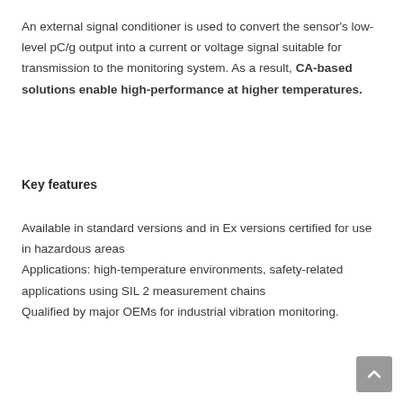An external signal conditioner is used to convert the sensor's low-level pC/g output into a current or voltage signal suitable for transmission to the monitoring system. As a result, CA-based solutions enable high-performance at higher temperatures.
Key features
Available in standard versions and in Ex versions certified for use in hazardous areas
Applications: high-temperature environments, safety-related applications using SIL 2 measurement chains
Qualified by major OEMs for industrial vibration monitoring.